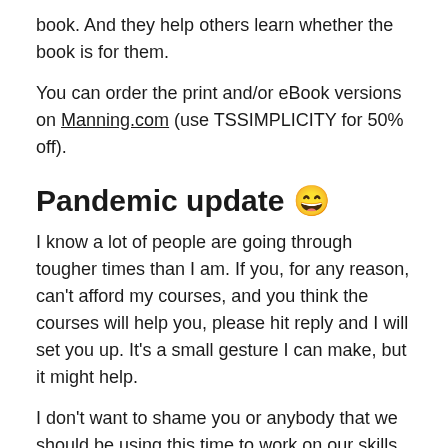book. And they help others learn whether the book is for them.
You can order the print and/or eBook versions on Manning.com (use TSSIMPLICITY for 50% off).
Pandemic update 😄
I know a lot of people are going through tougher times than I am. If you, for any reason, can't afford my courses, and you think the courses will help you, please hit reply and I will set you up. It's a small gesture I can make, but it might help.
I don't want to shame you or anybody that we should be using this time to work on our skills. The